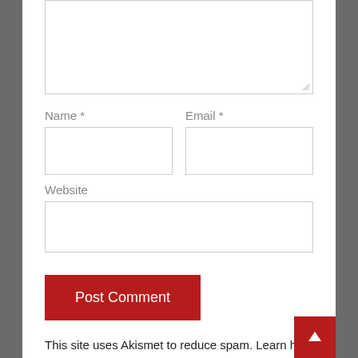[Figure (screenshot): Textarea input stub at top of page, partially visible with resize handle at bottom right]
Name *
Email *
Website
Post Comment
This site uses Akismet to reduce spam. Learn how your comment data is processed.